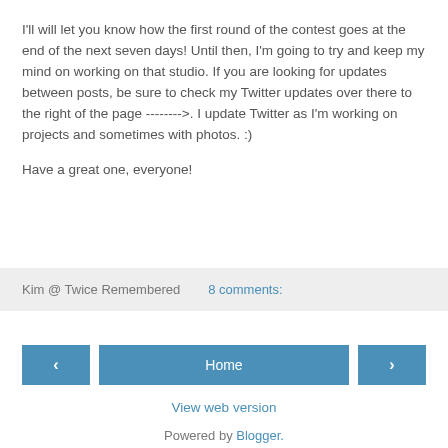I'll will let you know how the first round of the contest goes at the end of the next seven days! Until then, I'm going to try and keep my mind on working on that studio. If you are looking for updates between posts, be sure to check my Twitter updates over there to the right of the page -------->. I update Twitter as I'm working on projects and sometimes with photos. :)
Have a great one, everyone!
Kim @ Twice Remembered    8 comments:
< Home > View web version Powered by Blogger.